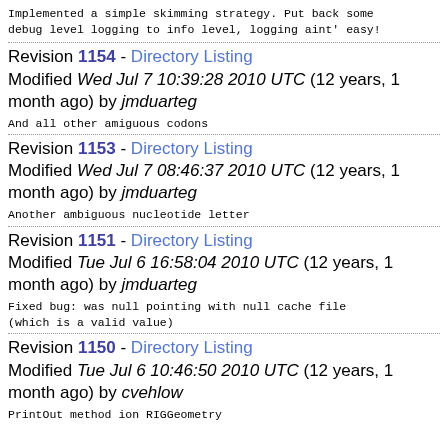Implemented a simple skimming strategy. Put back some debug level logging to info level, logging aint' easy!
Revision 1154 - Directory Listing
Modified Wed Jul 7 10:39:28 2010 UTC (12 years, 1 month ago) by jmduarteg
And all other amiguous codons
Revision 1153 - Directory Listing
Modified Wed Jul 7 08:46:37 2010 UTC (12 years, 1 month ago) by jmduarteg
Another ambiguous nucleotide letter
Revision 1151 - Directory Listing
Modified Tue Jul 6 16:58:04 2010 UTC (12 years, 1 month ago) by jmduarteg
Fixed bug: was null pointing with null cache file (which is a valid value)
Revision 1150 - Directory Listing
Modified Tue Jul 6 10:46:50 2010 UTC (12 years, 1 month ago) by cvehlow
PrintOut method ion RIGGeometry